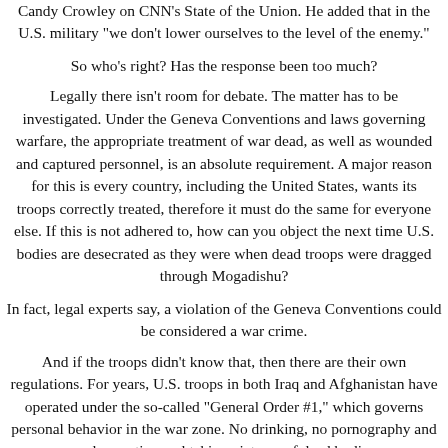Candy Crowley on CNN's State of the Union. He added that in the U.S. military "we don't lower ourselves to the level of the enemy."
So who's right? Has the response been too much?
Legally there isn't room for debate. The matter has to be investigated. Under the Geneva Conventions and laws governing warfare, the appropriate treatment of war dead, as well as wounded and captured personnel, is an absolute requirement. A major reason for this is every country, including the United States, wants its troops correctly treated, therefore it must do the same for everyone else. If this is not adhered to, how can you object the next time U.S. bodies are desecrated as they were when dead troops were dragged through Mogadishu?
In fact, legal experts say, a violation of the Geneva Conventions could be considered a war crime.
And if the troops didn't know that, then there are their own regulations. For years, U.S. troops in both Iraq and Afghanistan have operated under the so-called "General Order #1," which governs personal behavior in the war zone. No drinking, no pornography and no desecration and taking pictures of dead bodies.